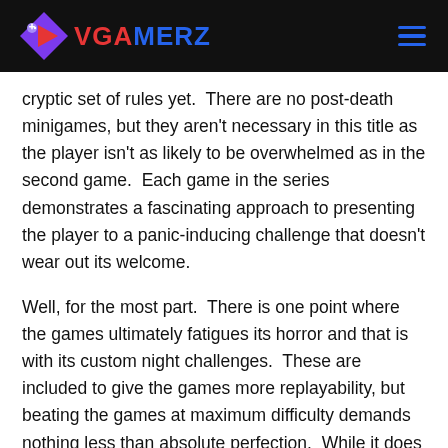VGAMERZ
cryptic set of rules yet.  There are no post-death minigames, but they aren't necessary in this title as the player isn't as likely to be overwhelmed as in the second game.  Each game in the series demonstrates a fascinating approach to presenting the player to a panic-inducing challenge that doesn't wear out its welcome.
Well, for the most part.  There is one point where the games ultimately fatigues its horror and that is with its custom night challenges.  These are included to give the games more replayability, but beating the games at maximum difficulty demands nothing less than absolute perfection.  While it does add more value to